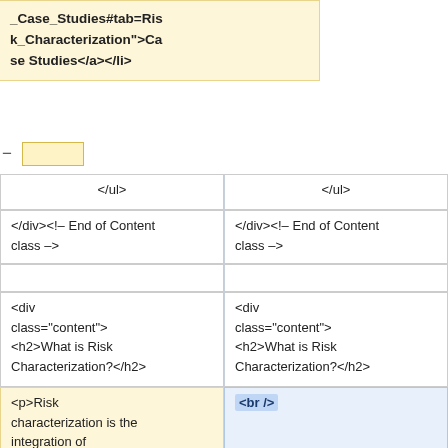_Case_Studies#tab=Risk_Characterization">Case Studies</a></li>
</ul>
</ul>
</div><!-- End of Content class -->
</div><!-- End of Content class -->
<div class="content"><h2>What is Risk Characterization?</h2>
<div class="content"><h2>What is Risk Characterization?</h2>
<p>Risk characterization is the integration of information on how much dose was received (from the <a href="http://wiki.camra.msu.edu/index.php?title=Exposure_Assessment_%28Home_Page%29">Exposure
<br />